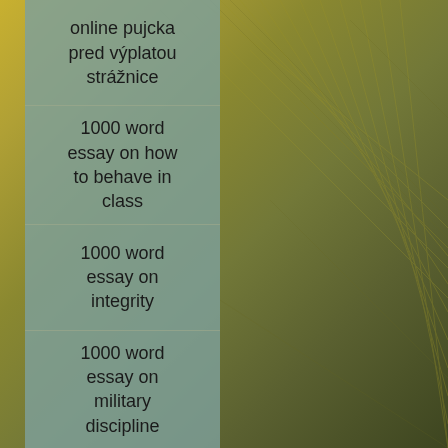[Figure (photo): Blurred aerial or close-up photo of grass or wheat field in olive-green and golden-yellow tones, serving as background.]
online pujcka pred výplatou strážnice
1000 word essay on how to behave in class
1000 word essay on integrity
1000 word essay on military discipline